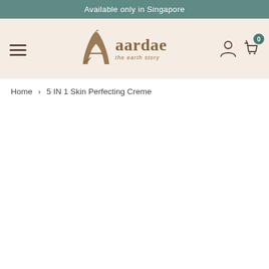Available only in Singapore
[Figure (logo): Aardae brand logo with stylized letter A with leaf motif and text 'aardae the earth story' in brown/tan color on cream background, with hamburger menu icon on left and user/cart icons on right]
Home > 5 IN 1 Skin Perfecting Creme